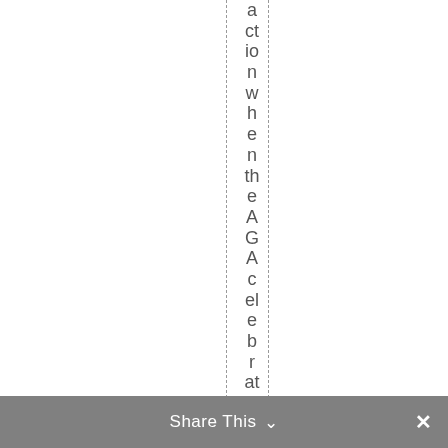action when the AGA celebrates students
Share This ⌄ ×